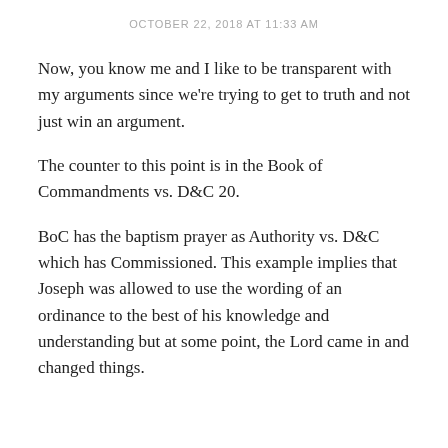OCTOBER 22, 2018 AT 11:33 AM
Now, you know me and I like to be transparent with my arguments since we're trying to get to truth and not just win an argument.
The counter to this point is in the Book of Commandments vs. D&C 20.
BoC has the baptism prayer as Authority vs. D&C which has Commissioned. This example implies that Joseph was allowed to use the wording of an ordinance to the best of his knowledge and understanding but at some point, the Lord came in and changed things.